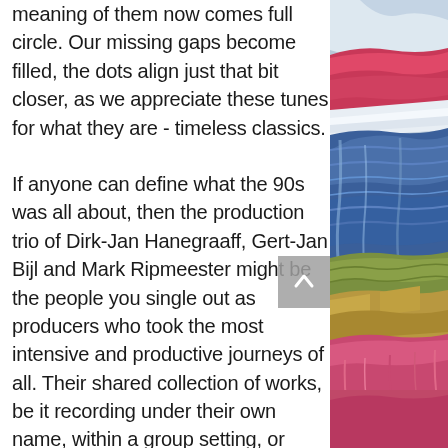meaning of them now comes full circle. Our missing gaps become filled, the dots align just that bit closer, as we appreciate these tunes for what they are - timeless classics.
If anyone can define what the 90s was all about, then the production trio of Dirk-Jan Hanegraaff, Gert-Jan Bijl and Mark Ripmeester might be the people you single out as producers who took the most intensive and productive journeys of all. Their shared collection of works, be it recording under their own name, within a group setting, or under one of their endless alias, is staggering and bewildering in its scope, unprecedented and supreme in its achievements, solidified and timeless its varying
[Figure (illustration): A colorful abstract painted illustration with layered organic shapes in blues, reds, greens, yellows, and pinks, showing what appears to be textile or natural forms.]